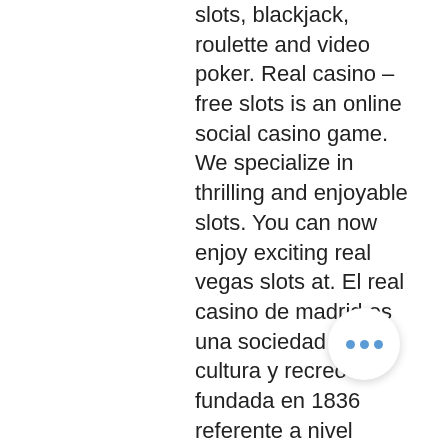slots, blackjack, roulette and video poker. Real casino – free slots is an online social casino game. We specialize in thrilling and enjoyable slots. You can now enjoy exciting real vegas slots at. El real casino de madrid es una sociedad de cultura y recreo fundada en 1836 referente a nivel nacional e internacional entre las de su clase. Heart of vegas online casino has real slots from around the world. Play free slots and pokies online, on facebook, or on your mobile phone and tablet! Open 24 hours per day | the central valley's home for poker! Baccarat · blackjack · craps · keno · vegas slots · poker · roulette · slots. Draftkings casino is best for blackjack players: · betmgm online casino is best for online slots: · golden. Win real money at cafe casino - the online casino offering you all of your favourite reels, card games, and more. Get free bonuses just by signing up. List of best real money casino apps in canada 2021. · exclusive bonus...